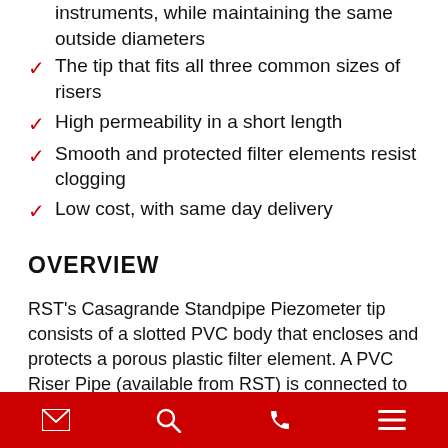instruments, while maintaining the same outside diameters
The tip that fits all three common sizes of risers
High permeability in a short length
Smooth and protected filter elements resist clogging
Low cost, with same day delivery
OVERVIEW
RST’s Casagrande Standpipe Piezometer tip consists of a slotted PVC body that encloses and protects a porous plastic filter element. A PVC Riser Pipe (available from RST) is connected to the tip and extended to the surface